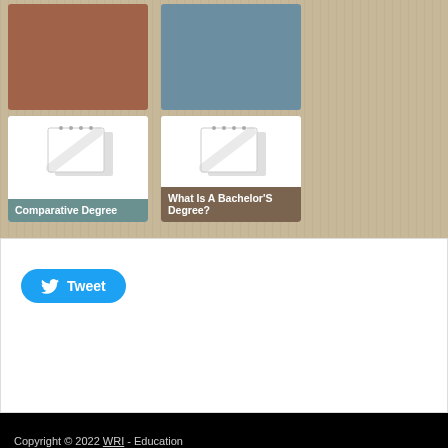[Figure (screenshot): Grid of four content cards on a tan/beige striped background. Top row: rust/brown colored card and steel blue colored card. Bottom row: two cards with notebook illustrations - one labeled 'Comparative Degree' with teal label, one labeled 'What Is A Bachelor’S Degree?' with brown label.]
Tweet
Copyright © 2022 WRI - Education
Designed by Website Templates WordPress, thanks to: dpthemes.com, ForWP and Theme.Today